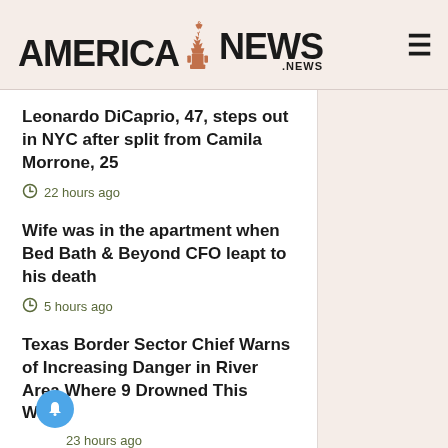AMERICA NEWS .NEWS
Leonardo DiCaprio, 47, steps out in NYC after split from Camila Morrone, 25
22 hours ago
Wife was in the apartment when Bed Bath & Beyond CFO leapt to his death
5 hours ago
Texas Border Sector Chief Warns of Increasing Danger in River Area Where 9 Drowned This Week
23 hours ago
Top House Republican Slams